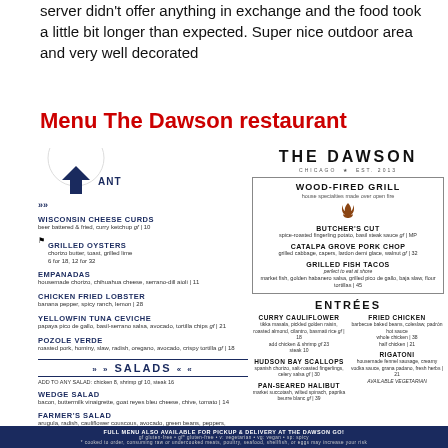server didn't offer anything in exchange and the food took a little bit longer than expected. Super nice outdoor area and very well decorated
Menu The Dawson restaurant
[Figure (photo): The Dawson restaurant logo and menu page showing appetizers, salads on left panel and wood-fired grill, entrees on right panel]
FULL MENU ALSO AVAILABLE FOR PICKUP & DELIVERY AT THE DAWSON GO!